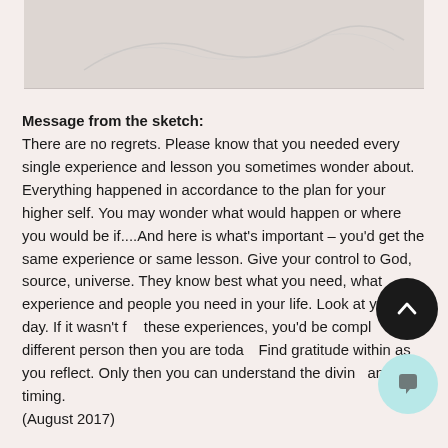[Figure (photo): A partial sketch or drawing visible at the top of the page, light gray tones on white background]
Message from the sketch:
There are no regrets. Please know that you needed every single experience and lesson you sometimes wonder about. Everything happened in accordance to the plan for your higher self. You may wonder what would happen or where you would be if....And here is what's important – you'd get the same experience or same lesson. Give your control to God, source, universe. They know best what you need, what experience and people you need in your life. Look at you to day. If it wasn't for these experiences, you'd be completely different person then you are today. Find gratitude within as you reflect. Only then you can understand the divine and timing.
(August 2017)